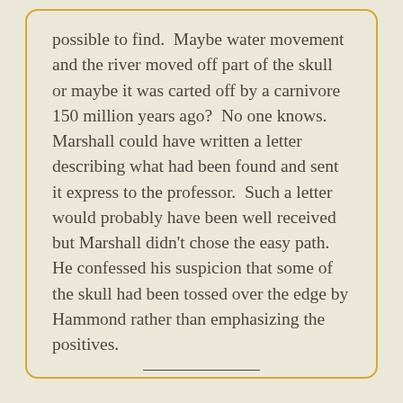possible to find.  Maybe water movement and the river moved off part of the skull or maybe it was carted off by a carnivore 150 million years ago?  No one knows. Marshall could have written a letter describing what had been found and sent it express to the professor.  Such a letter would probably have been well received but Marshall didn't chose the easy path. He confessed his suspicion that some of the skull had been tossed over the edge by Hammond rather than emphasizing the positives.